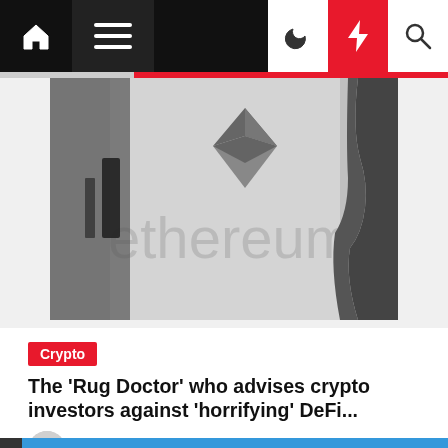Navigation bar with home, menu, moon, flash, search icons
[Figure (photo): Black and white photo showing the Ethereum logo/diamond symbol on a light background with text 'ethereum' visible, and a silhouette of a person's profile on the right side]
Crypto
The 'Rug Doctor' who advises crypto investors against 'horrifying' DeFi...
Selina Johansson  6 months ago